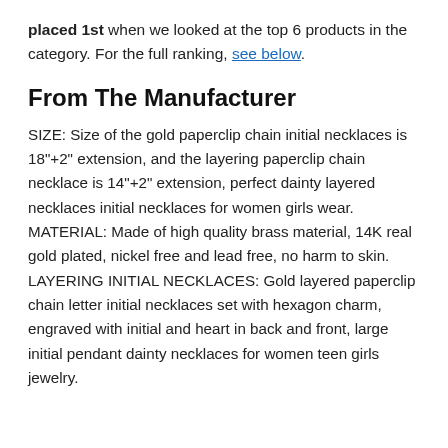placed 1st when we looked at the top 6 products in the category. For the full ranking, see below.
From The Manufacturer
SIZE: Size of the gold paperclip chain initial necklaces is 18"+2" extension, and the layering paperclip chain necklace is 14"+2" extension, perfect dainty layered necklaces initial necklaces for women girls wear. MATERIAL: Made of high quality brass material, 14K real gold plated, nickel free and lead free, no harm to skin. LAYERING INITIAL NECKLACES: Gold layered paperclip chain letter initial necklaces set with hexagon charm, engraved with initial and heart in back and front, large initial pendant dainty necklaces for women teen girls jewelry.